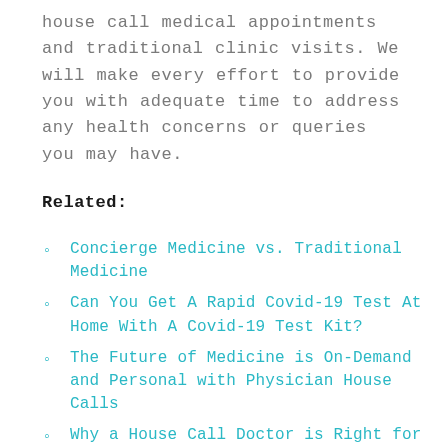house call medical appointments and traditional clinic visits. We will make every effort to provide you with adequate time to address any health concerns or queries you may have.
Related:
Concierge Medicine vs. Traditional Medicine
Can You Get A Rapid Covid-19 Test At Home With A Covid-19 Test Kit?
The Future of Medicine is On-Demand and Personal with Physician House Calls
Why a House Call Doctor is Right for You
Better Together: Functional Medicine...